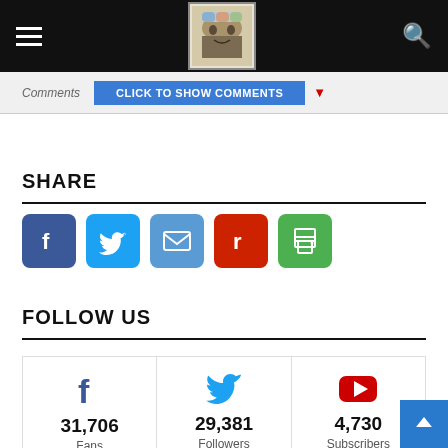Navigation bar with hamburger menu, logo, and search icon
Comments  Click to show comments
SHARE
[Figure (infographic): Row of social share buttons: Facebook (blue), Twitter (light blue), Email (blue), Reddit (red), Print (green)]
FOLLOW US
[Figure (infographic): Three follow cards: Facebook 31,706 Fans | Twitter 29,381 Followers | YouTube 4,730 Subscribers]